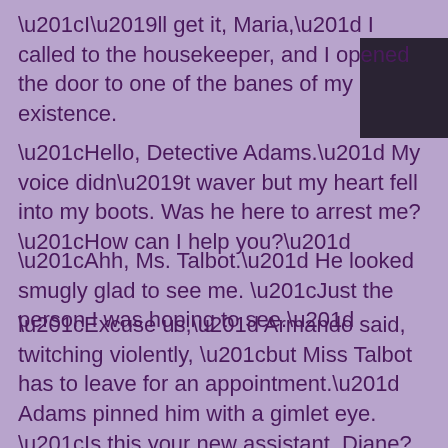“I’ll get it, Maria,” I called to the housekeeper, and I opened the door to one of the banes of my existence.
“Hello, Detective Adams.” My voice didn’t waver but my heart fell into my boots. Was he here to arrest me? “How can I help you?”
“Ahh, Ms. Talbot.” He looked smugly glad to see me. “Just the person I was hoping to see.”
“Excuse us,” Armando said, twitching violently, “but Miss Talbot has to leave for an appointment.” Adams pinned him with a gimlet eye. “Is this your new assistant, Diane? Glad to see he’s still upright. For now, at least.” He made a pistol with his hand and mimed shooting Armando.